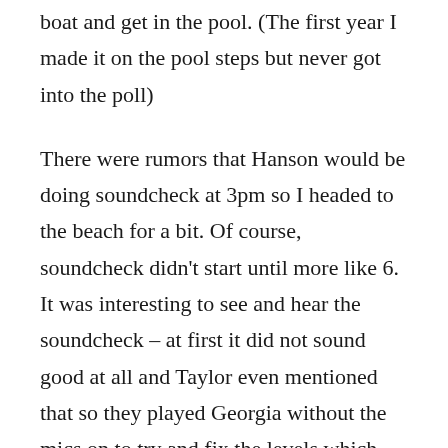boat and get in the pool. (The first year I made it on the pool steps but never got into the poll)
There were rumors that Hanson would be doing soundcheck at 3pm so I headed to the beach for a bit. Of course, soundcheck didn't start until more like 6.  It was interesting to see and hear the soundcheck – at first it did not sound good at all and Taylor even mentioned that so they played Georgia without the mics on to try and fix the levels which was pretty weird to watch.
After soundcheck we grabbed dinner, I watched Rachel and David play some pool